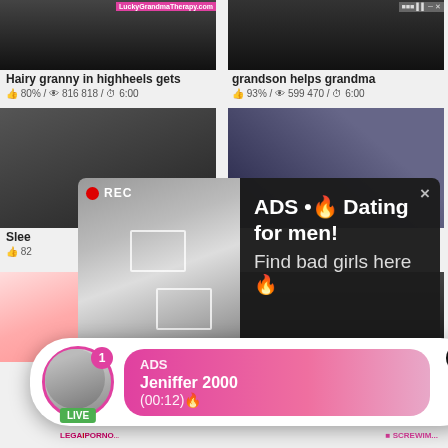[Figure (screenshot): Video thumbnail - dark/black image with pink banner text 'LuckyGrandmaTherapy.com']
Hairy granny in highheels gets
👍 80% / 👁 816 818 / ⏱ 6:00
[Figure (screenshot): Video thumbnail - dark image with timestamp overlay]
grandson helps grandma
👍 93% / 👁 599 470 / ⏱ 6:00
[Figure (screenshot): Video thumbnail showing partial content, partially covered by popup]
Slee...
👍 82...
[Figure (screenshot): Video thumbnail - blue/dark image, partially covered by popup]
[Figure (photo): Popup ad overlay: dark background with woman taking selfie in mirror, REC badge, focus boxes. Text: ADS •🔥 Dating for men! Find bad girls here 🔥]
ADS •🔥 Dating for men!
Find bad girls here 🔥
[Figure (screenshot): Bottom left video thumbnail - nude/pink toned content]
[Figure (screenshot): Bottom right video thumbnail - dark content]
[Figure (infographic): Bottom notification popup: circular avatar with LIVE badge and notification count 1, pink gradient banner reading: ADS / Jeniffer 2000 / (00:12)🔥. Black X close button.]